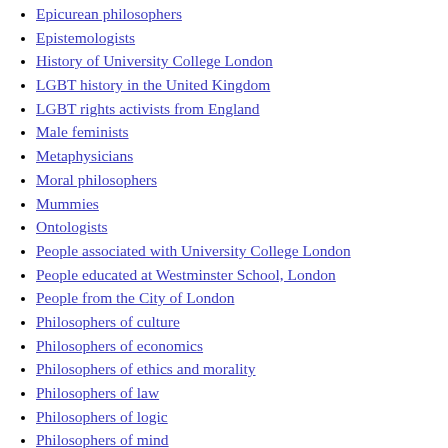Epicurean philosophers
Epistemologists
History of University College London
LGBT history in the United Kingdom
LGBT rights activists from England
Male feminists
Metaphysicians
Moral philosophers
Mummies
Ontologists
People associated with University College London
People educated at Westminster School, London
People from the City of London
Philosophers of culture
Philosophers of economics
Philosophers of ethics and morality
Philosophers of law
Philosophers of logic
Philosophers of mind
Philosophy writers
Political philosophers
Social critics
Social philosophers
Utilitarians